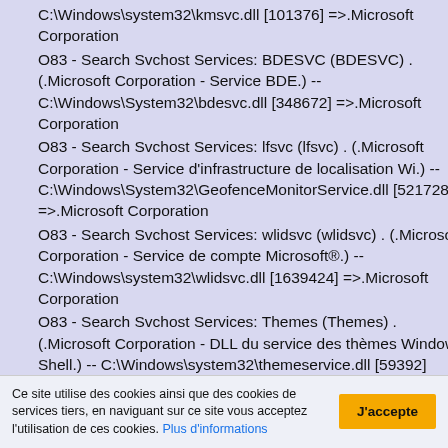C:\Windows\system32\kmsvc.dll [101376] =>.Microsoft Corporation
O83 - Search Svchost Services: BDESVC (BDESVC) . (.Microsoft Corporation - Service BDE.) -- C:\Windows\System32\bdesvc.dll [348672] =>.Microsoft Corporation
O83 - Search Svchost Services: lfsvc (lfsvc) . (.Microsoft Corporation - Service d'infrastructure de localisation Wi.) -- C:\Windows\System32\GeofenceMonitorService.dll [521728] =>.Microsoft Corporation
O83 - Search Svchost Services: wlidsvc (wlidsvc) . (.Microsoft Corporation - Service de compte Microsoft®.) -- C:\Windows\system32\wlidsvc.dll [1639424] =>.Microsoft Corporation
O83 - Search Svchost Services: Themes (Themes) . (.Microsoft Corporation - DLL du service des thèmes Windows Shell.) -- C:\Windows\system32\themeservice.dll [59392] =>.Microsoft Corporation
O83 - Search Svchost Services: DsmSvc (DsmSvc) . (.Microsoft Corporation - Gestionnaire d'installation de
Ce site utilise des cookies ainsi que des cookies de services tiers, en naviguant sur ce site vous acceptez l'utilisation de ces cookies. Plus d'informations